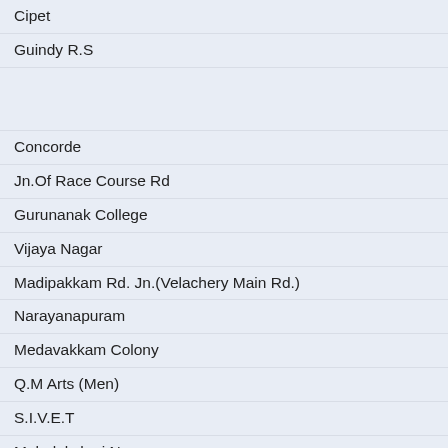| Cipet |
| Guindy R.S |
|  |
| Concorde |
| Jn.Of Race Course Rd |
| Gurunanak College |
| Vijaya Nagar |
| Madipakkam Rd. Jn.(Velachery Main Rd.) |
| Narayanapuram |
| Medavakkam Colony |
| Q.M Arts (Men) |
| S.I.V.E.T |
| Mahalakshmi Nagar |
| Convent |
| Tambaram East |
|  |